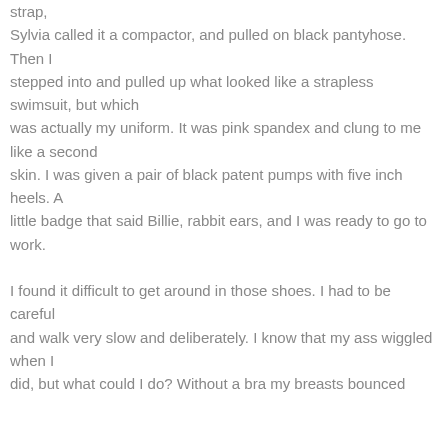strap, Sylvia called it a compactor, and pulled on black pantyhose. Then I stepped into and pulled up what looked like a strapless swimsuit, but which was actually my uniform. It was pink spandex and clung to me like a second skin. I was given a pair of black patent pumps with five inch heels. A little badge that said Billie, rabbit ears, and I was ready to go to work.

I found it difficult to get around in those shoes. I had to be careful and walk very slow and deliberately. I know that my ass wiggled when I did, but what could I do? Without a bra my breasts bounced